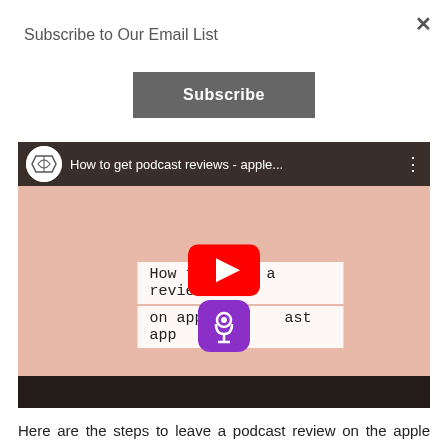×
Subscribe to Our Email List
Subscribe
[Figure (screenshot): YouTube video thumbnail showing 'How to get podcast reviews - apple...' with a play button overlay, text 'How to leave a review on apple podcast app', podcast icon, channel logo, and black bars at top and bottom.]
Here are the steps to leave a podcast review on the apple podcast app from your phone: